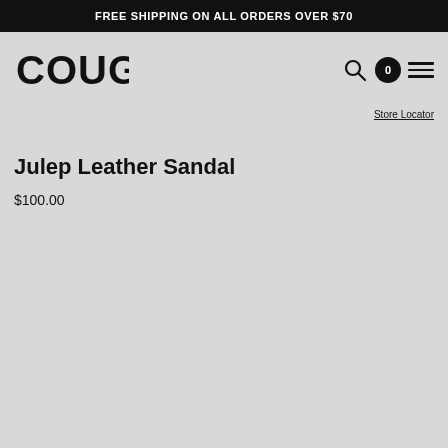FREE SHIPPING ON ALL ORDERS OVER $70
[Figure (logo): Cougar brand logo in bold black block letters]
Store Locator
Julep Leather Sandal
$100.00